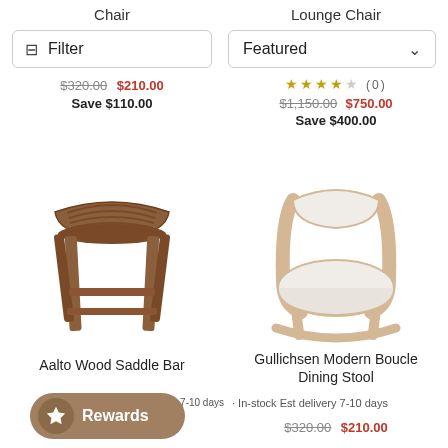Chair
Lounge Chair
Filter
Featured
$320.00  $210.00
Save $110.00
★★★★☆ (0)
$1,150.00  $750.00
Save $400.00
[Figure (photo): Aalto Wood Saddle Bar stool - wooden bar stool with saddle-shaped seat and four legs in brown wood]
[Figure (photo): Gullichsen Modern Boucle Dining chair - modern dining chair with curved light wood frame and white boucle upholstery]
Aalto Wood Saddle Bar
Gullichsen Modern Boucle Dining Stool
· In-stock Est delivery 7-10 days
7-10 days
$250.00  $160.00
$320.00  $210.00
Rewards